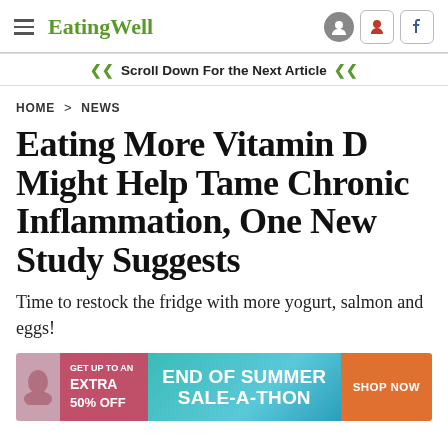EatingWell
Scroll Down For the Next Article
HOME > NEWS
Eating More Vitamin D Might Help Tame Chronic Inflammation, One New Study Suggests
Time to restock the fridge with more yogurt, salmon and eggs!
[Figure (other): Advertisement banner: GET UP TO AN EXTRA 50% OFF | END OF SUMMER SALE-A-THON | SHOP NOW]